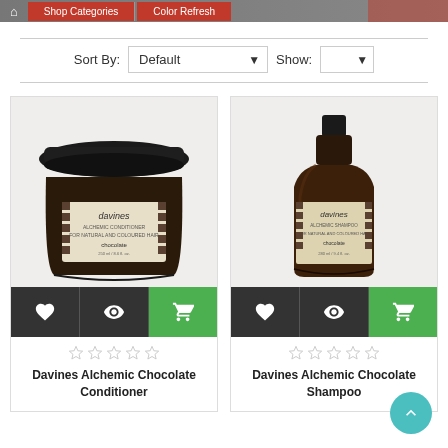Shop Categories | Color Refresh
Sort By: Default   Show:
[Figure (photo): Davines Alchemic Chocolate Conditioner jar product photo]
Davines Alchemic Chocolate Conditioner
[Figure (photo): Davines Alchemic Chocolate Shampoo bottle product photo]
Davines Alchemic Chocolate Shampoo